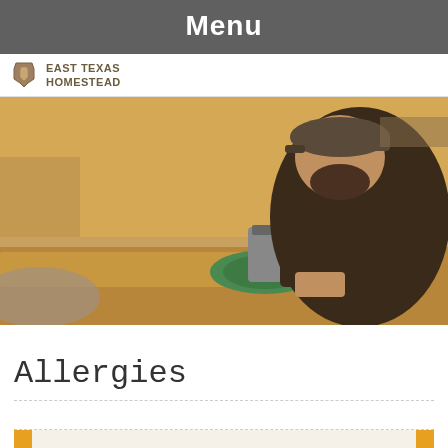Menu
[Figure (logo): East Texas Homestead logo with Texas state outline icon and text]
[Figure (photo): A man wearing a cap and jacket using a power router tool on a piece of wood, workshop setting]
Allergies
[Figure (photo): Close-up photo of peanuts on a light background with orange/yellow borders]